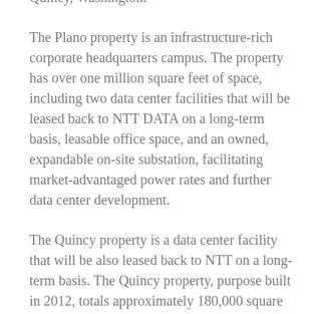Quincy, Washington.
The Plano property is an infrastructure-rich corporate headquarters campus. The property has over one million square feet of space, including two data center facilities that will be leased back to NTT DATA on a long-term basis, leasable office space, and an owned, expandable on-site substation, facilitating market-advantaged power rates and further data center development.
The Quincy property is a data center facility that will be also leased back to NTT on a long-term basis. The Quincy property, purpose built in 2012, totals approximately 180,000 square feet, with robust, redundant infrastructure including 14 MW of gross